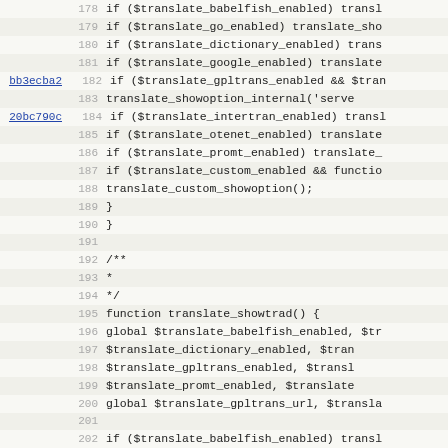[Figure (screenshot): Source code viewer showing PHP code lines 178-210 with line numbers, revision annotations (bb3ecba2, 20bc790c), and code content related to translate functions.]